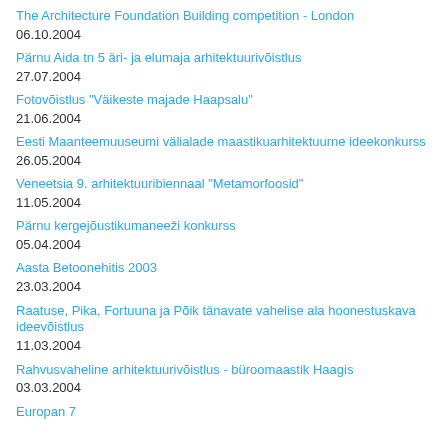The Architecture Foundation Building competition - London
06.10.2004
Pärnu Aida tn 5 äri- ja elumaja arhitektuurivõistlus
27.07.2004
Fotovõistlus "Väikeste majade Haapsalu"
21.06.2004
Eesti Maanteemuuseumi välialade maastikuarhitektuurne ideekonkurss
26.05.2004
Veneetsia 9. arhitektuuribiennaal "Metamorfoosid"
11.05.2004
Pärnu kergejõustikumaneeži konkurss
05.04.2004
Aasta Betoonehitis 2003
23.03.2004
Raatuse, Pika, Fortuuna ja Põik tänavate vahelise ala hoonestuskava ideevõistlus
11.03.2004
Rahvusvaheline arhitektuurivõistlus - büroomaastik Haagis
03.03.2004
Europan 7